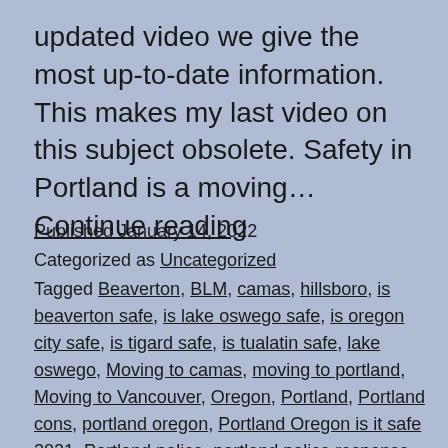updated video we give the most up-to-date information. This makes my last video on this subject obsolete. Safety in Portland is a moving… Continue reading
Published January 14, 2022
Categorized as Uncategorized
Tagged Beaverton, BLM, camas, hillsboro, is beaverton safe, is lake oswego safe, is oregon city safe, is tigard safe, is tualatin safe, lake oswego, Moving to camas, moving to portland, Moving to Vancouver, Oregon, Portland, Portland cons, portland oregon, Portland Oregon is it safe 2021, Portland police, portland police response, Portland Protests, portland riots, portland riots 2021, Portland safety, Portland safety update, Portland suburb